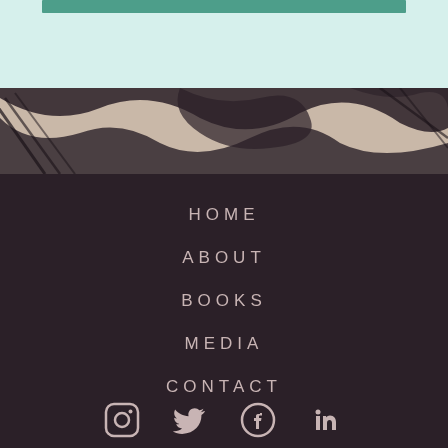[Figure (illustration): Top section with light mint/teal background and a teal green horizontal bar near the top]
[Figure (illustration): Decorative illustration strip with abstract organic shapes in beige/tan and dark brown/black lines, resembling a stylized artistic pattern]
HOME
ABOUT
BOOKS
MEDIA
CONTACT
[Figure (infographic): Social media icons row: Instagram, Twitter, Facebook, LinkedIn — all in light pinkish-beige color on dark background]